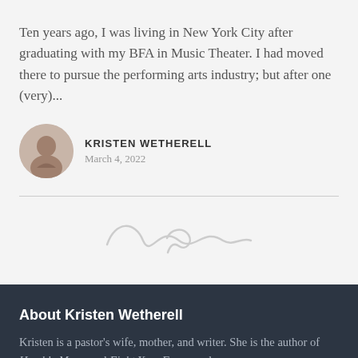Ten years ago, I was living in New York City after graduating with my BFA in Music Theater. I had moved there to pursue the performing arts industry; but after one (very)...
KRISTEN WETHERELL
March 4, 2022
[Figure (illustration): Decorative swirl/flourish ornament divider in light gray]
About Kristen Wetherell
Kristen is a pastor's wife, mother, and writer. She is the author of Humble Moms and Fight Your Fears, and